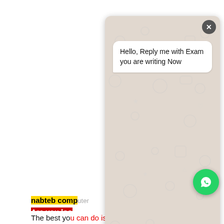[Figure (screenshot): WhatsApp chat popup overlay showing 'Hello, Reply me with Exam you are writing Now' message with doodle background, close button, text input, and send button]
nabteb computer answer 2022
Are you looking for nabteb computer answer 2022? Our answer 2022
The best you can do is to follow us Gistpower...
BEST WAE...
Make A/B, nabteb computer...
Do you know... into univers...
A/B in your WAEC/NECO/NABTEB result because it gives you better chance than those WITH C.
If you really want to have A/B in your results, make sure you pay for our runz, nabteb computer answer 2022
that is the only most...